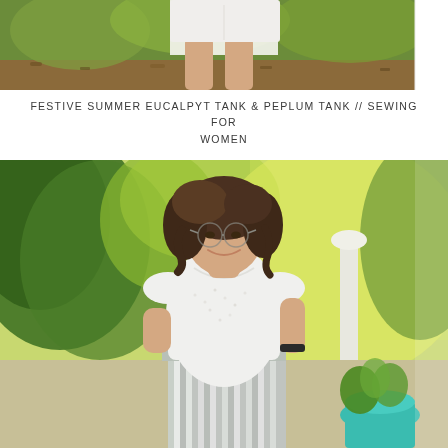[Figure (photo): Top-cropped photo showing woman's lower body wearing white shorts, standing outdoors with mulch and greenery in background]
FESTIVE SUMMER EUCALPYT TANK & PEPLUM TANK // SEWING FOR WOMEN
[Figure (photo): Woman with curly brown hair and glasses, smiling, wearing a white eyelet short-sleeve top and grey-and-white striped drawstring pants, standing outdoors near a garden with greenery and a teal flower pot]